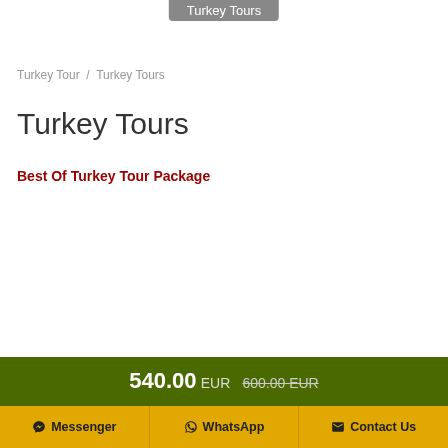Turkey Tours
Turkey Tour / Turkey Tours
Turkey Tours
Best Of Turkey Tour Package
540.00 EUR  600.00 EUR
Messenger  WhatsApp  Contact Us